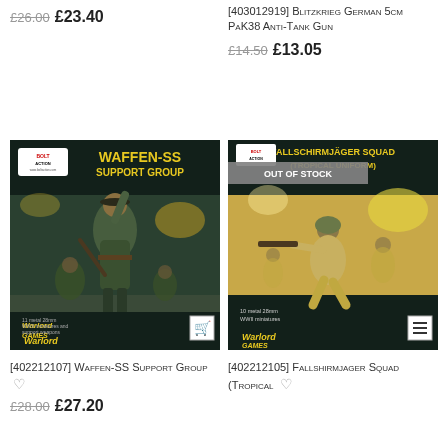£26.00 £23.40
[403012919] Blitzkrieg German 5cm PaK38 Anti-Tank Gun £14.50 £13.05
[Figure (photo): Bolt Action Waffen-SS Support Group miniatures box art showing German WWII soldiers in camouflage uniforms]
[402212107] Waffen-SS Support Group £28.00 £27.20
[Figure (photo): Fallschirmjager Squad Tropical Uniform box art showing WWII German paratroopers with weapons, OUT OF STOCK badge overlay]
[402212105] Fallshirmjager Squad (Tropical £13.05